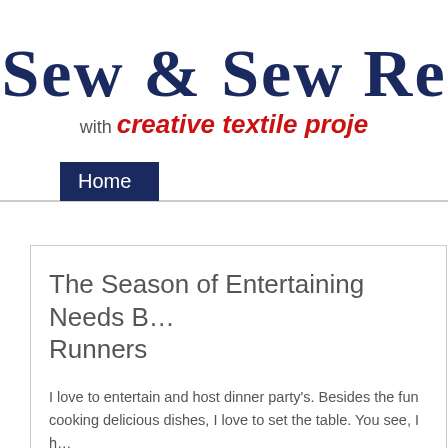Sew & Sew Re…
with creative textile proj…
Home
The Season of Entertaining Needs B… Runners
I love to entertain and host dinner party's. Besides the fun… cooking delicious dishes, I love to set the table. You see, I h… dishes and four half sets, so every table I set is different. … tablecloth choices and the table runners.